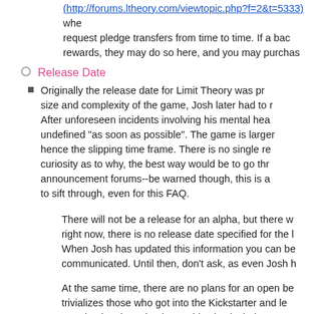(http://forums.ltheory.com/viewtopic.php?f=2&t=5333) whe... request pledge transfers from time to time. If a bac... rewards, they may do so here, and you may purchas...
Release Date
Originally the release date for Limit Theory was pr... size and complexity of the game, Josh later had to r... After unforeseen incidents involving his mental hea... undefined "as soon as possible". The game is larger... hence the slipping time frame. There is no single re... curiosity as to why, the best way would be to go thr... announcement forums--be warned though, this is a... to sift through, even for this FAQ.
There will not be a release for an alpha, but there w... right now, there is no release date specified for the ... When Josh has updated this information you can be... communicated. Until then, don't ask, as even Josh h...
At the same time, there are no plans for an open be... trivializes those who got into the Kickstarter and le... promised to those backers. This also includes Steam...
Unless an official announcement comes from Josh...